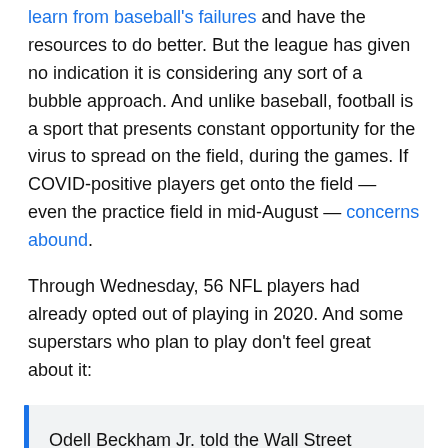learn from baseball's failures and have the resources to do better. But the league has given no indication it is considering any sort of a bubble approach. And unlike baseball, football is a sport that presents constant opportunity for the virus to spread on the field, during the games. If COVID-positive players get onto the field — even the practice field in mid-August — concerns abound.
Through Wednesday, 56 NFL players had already opted out of playing in 2020. And some superstars who plan to play don't feel great about it:
Odell Beckham Jr. told the Wall Street Journal that he doesn't think the 2020 NFL season should happen. pic.twitter.com/2sF0DDsfUE